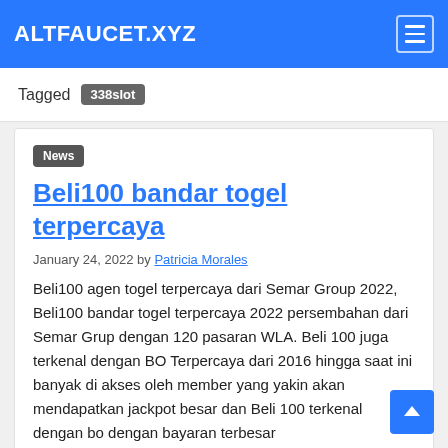ALTFAUCET.XYZ
Tagged 338slot
News
Beli100 bandar togel terpercaya
January 24, 2022 by Patricia Morales
Beli100 agen togel terpercaya dari Semar Group 2022, Beli100 bandar togel terpercaya 2022 persembahan dari Semar Grup dengan 120 pasaran WLA. Beli 100 juga terkenal dengan BO Terpercaya dari 2016 hingga saat ini banyak di akses oleh member yang yakin akan mendapatkan jackpot besar dan Beli 100 terkenal dengan bo dengan bayaran terbesar